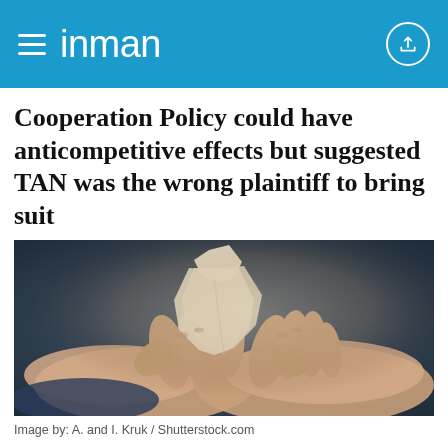inman
Cooperation Policy could have anticompetitive effects but suggested TAN was the wrong plaintiff to bring suit
[Figure (photo): Close-up photo of two hands tearing or handling a piece of paper or document, with a dark blurred background]
Image by: A. and I. Kruk / Shutterstock.com
BY ANDREA V. BRAMBILA